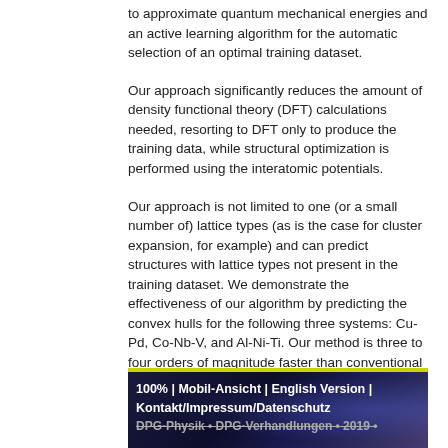to approximate quantum mechanical energies and an active learning algorithm for the automatic selection of an optimal training dataset.
Our approach significantly reduces the amount of density functional theory (DFT) calculations needed, resorting to DFT only to produce the training data, while structural optimization is performed using the interatomic potentials.
Our approach is not limited to one (or a small number of) lattice types (as is the case for cluster expansion, for example) and can predict structures with lattice types not present in the training dataset. We demonstrate the effectiveness of our algorithm by predicting the convex hulls for the following three systems: Cu-Pd, Co-Nb-V, and Al-Ni-Ti. Our method is three to four orders of magnitude faster than conventional high-throughput DFT calculations and explores a wider range of materials. In all three systems, we found unreported stable structures compared to the AFLOW database.
100% | Mobil-Ansicht | English Version | Kontakt/Impressum/Datenschutz DPG-Physik • DPG-Verhandlungen • 2019 •